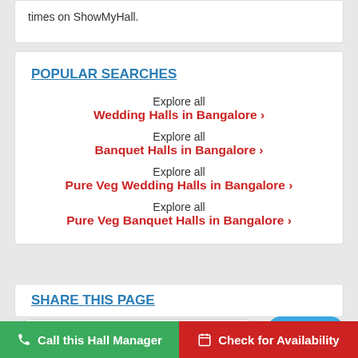times on ShowMyHall.
POPULAR SEARCHES
Explore all
Wedding Halls in Bangalore >
Explore all
Banquet Halls in Bangalore >
Explore all
Pure Veg Wedding Halls in Bangalore >
Explore all
Pure Veg Banquet Halls in Bangalore >
SHARE THIS PAGE
📈  10  people enquired for this hall today
Tweet
📞 Call this Hall Manager
📅 Check for Availability